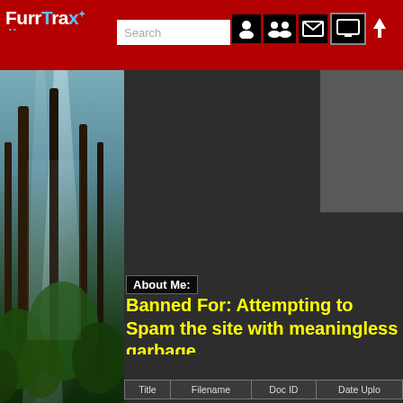[Figure (screenshot): FurrTrax website screenshot showing navigation bar with logo, search box, and icons]
[Figure (photo): Forest background photo showing tall trees with misty light filtering through, green undergrowth]
About Me:
Banned For: Attempting to Spam the site with meaningless garbage.
| Title | Filename | Doc ID | Date Uplo... |
| --- | --- | --- | --- |